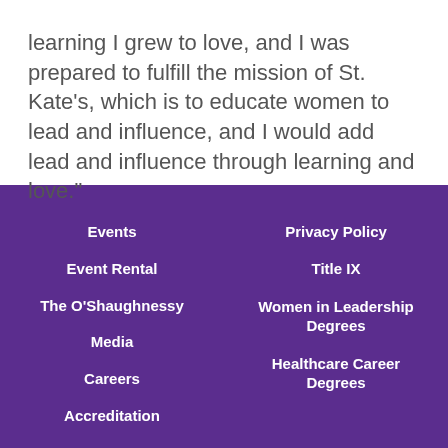learning I grew to love, and I was prepared to fulfill the mission of St. Kate's, which is to educate women to lead and influence, and I would add lead and influence through learning and love."
Events
Event Rental
The O'Shaughnessy
Media
Careers
Accreditation
Privacy Policy
Title IX
Women in Leadership Degrees
Healthcare Career Degrees